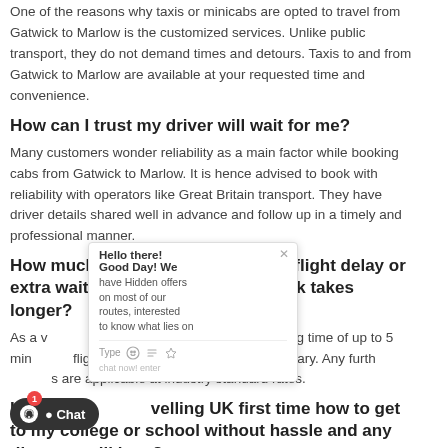One of the reasons why taxis or minicabs are opted to travel from Gatwick to Marlow is the customized services. Unlike public transport, they do not demand times and detours. Taxis to and from Gatwick to Marlow are available at your requested time and convenience.
How can I trust my driver will wait for me?
Many customers wonder reliability as a main factor while booking cabs from Gatwick to Marlow. It is hence advised to book with reliability with operators like Great Britain transport. They have driver details shared well in advance and follow up in a timely and professional manner.
How much do you charge extra for flight delay or extra waiting incase customer check takes longer?
As a valued customer, we do offer a free waiting time of up to 5 mins after flight landing time. This is complimentary. Any further charges are applicable at industry standard rates.
I am a student travelling UK first time how to get to my college or school without hassle and any discount will i get?
Student enjoy special privileges on many services, and our taxi